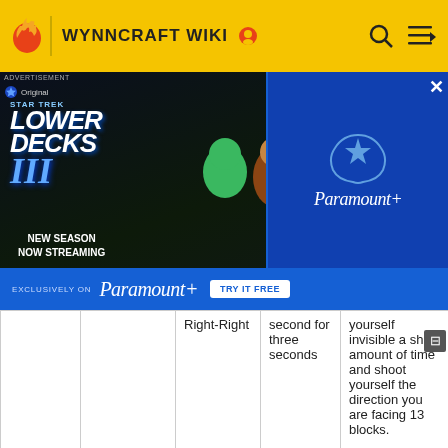WYNNCRAFT WIKI
[Figure (screenshot): Paramount+ advertisement for Star Trek Lower Decks III - New Season Now Streaming, exclusively on Paramount+, Try It Free button, with close button.]
|  |  | Right-Right | second for three seconds | yourself invisible a short amount of time and shoot yourself the direction you are facing 13 blocks. |